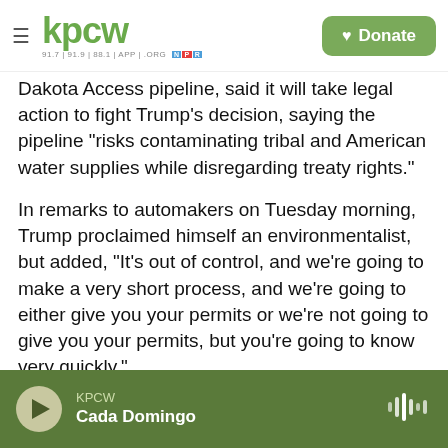KPCW | Donate
Dakota Access pipeline, said it will take legal action to fight Trump's decision, saying the pipeline "risks contaminating tribal and American water supplies while disregarding treaty rights."
In remarks to automakers on Tuesday morning, Trump proclaimed himself an environmentalist, but added, "It's out of control, and we're going to make a very short process, and we're going to either give you your permits or we're not going to give you your permits, but you're going to know very quickly."
Copyright 2021 NPR. To see more, visit https://www.npr.org
KPCW — Cada Domingo